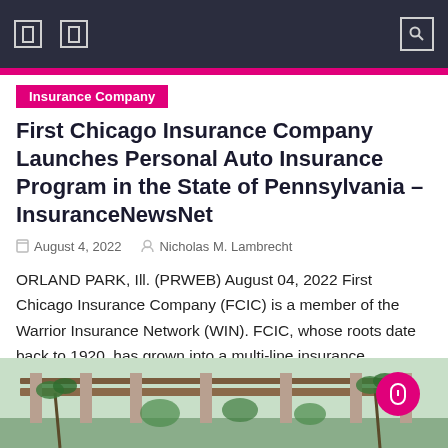Navigation bar with icons
Insurance Company
First Chicago Insurance Company Launches Personal Auto Insurance Program in the State of Pennsylvania – InsuranceNewsNet
August 4, 2022   Nicholas M. Lambrecht
ORLAND PARK, Ill. (PRWEB) August 04, 2022 First Chicago Insurance Company (FCIC) is a member of the Warrior Insurance Network (WIN). FCIC, whose roots date back to 1920, has grown into a multi-line insurance company and is now expanding its personal auto insurance program to include the state of Pennsylvania. This addition now expands FCIC's [...]
[Figure (photo): Outdoor photo showing a building with palm trees and vegetation, with a magenta circle scroll button overlay on the right side]